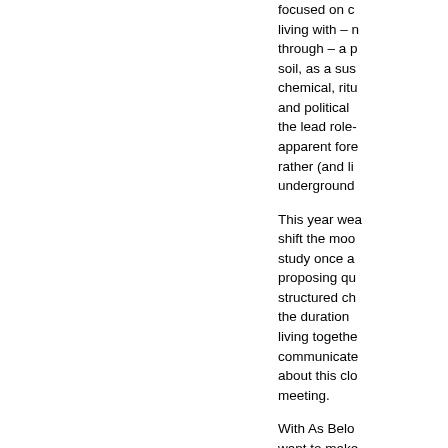focused on c... living with – n... through – a p... soil, as a sus... chemical, ritu... and political ... the lead role-... apparent fore... rather (and li... underground...
This year wea... shift the moo... study once a... proposing qu... structured ch... the duration ... living togethe... communicate... about this clo... meeting.
With As Belo... want to make... study the inte... relations bet... macro worlds:... Ther...